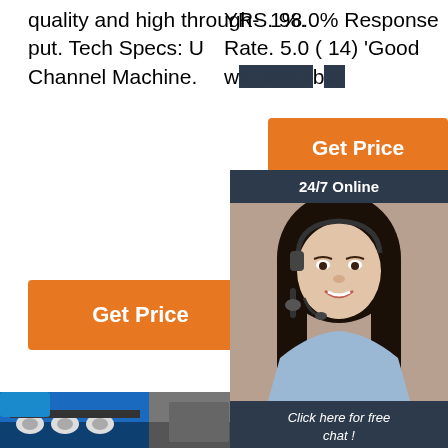quality and high through-put. Tech Specs: U Channel Machine.
1%.
YRS. 98.0% Response Rate. 5.0 ( 14) 'Good w... b...
[Figure (other): Orange 'Get Price' button (center)]
[Figure (other): Orange 'Get Price' button (left)]
[Figure (other): 24/7 Online chat widget with woman wearing headset, 'Click here for free chat!' text and orange QUOTATION button]
[Figure (photo): Photo of blue industrial roll forming machine with metal rollers]
[Figure (photo): Photo of industrial machinery in workshop with red equipment]
[Figure (photo): Photo or logo of TOP manufacturing machine]